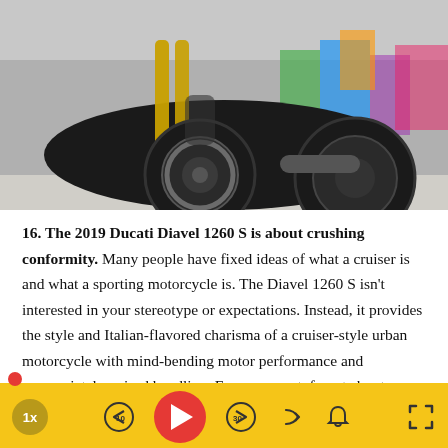[Figure (photo): Bottom portion of a Ducati Diavel 1260 S motorcycle showing the front wheel, forks, and lower fairing against a blurred outdoor background with colorful banners.]
16. The 2019 Ducati Diavel 1260 S is about crushing conformity. Many people have fixed ideas of what a cruiser is and what a sporting motorcycle is. The Diavel 1260 S isn't interested in your stereotype or expectations. Instead, it provides the style and Italian-flavored charisma of a cruiser-style urban motorcycle with mind-bending motor performance and appropriately poised handling. For a moment, forget about owning the 2019 Ducati Diavel 1260 S—that will come. Most importantly, no matter what your interest in motorcycles, this is a machine that you will want to ride, as there is nothing
[Figure (other): Audio/media player toolbar with playback controls: 1x speed button, rewind 10s, play button (red), fast-forward 30s, share, notification bell, and fullscreen expand button. Yellow background.]